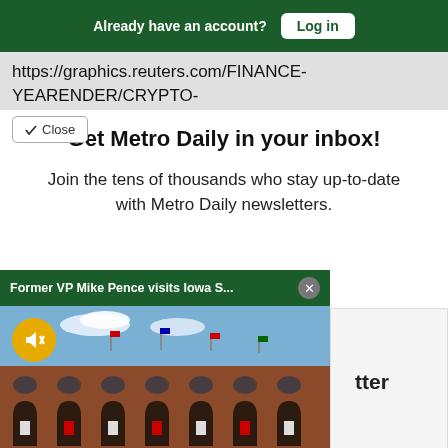Already have an account? Log in
https://graphics.reuters.com/FINANCE-YEARENDER/CRYPTO-  //cdnzymlibww/chart.png
Close
Get Metro Daily in your inbox!
Join the tens of thousands who stay up-to-date with Metro Daily newsletters.
[Figure (photo): Former VP Mike Pence visits Iowa S... - video popup with stadium building exterior photo, mute button overlay]
tter
Sections  NY Edition  Philly  Games  Advertise  Sign Up